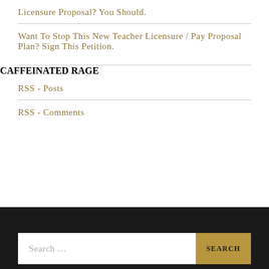Licensure Proposal? You Should.
Want To Stop This New Teacher Licensure / Pay Proposal Plan? Sign This Petition.
CAFFEINATED RAGE
RSS - Posts
RSS - Comments
Search ...